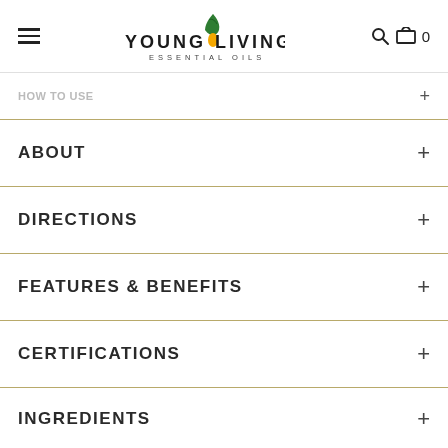Young Living Essential Oils — navigation header with hamburger menu, logo, search icon, and cart (0)
ABOUT
DIRECTIONS
FEATURES & BENEFITS
CERTIFICATIONS
INGREDIENTS